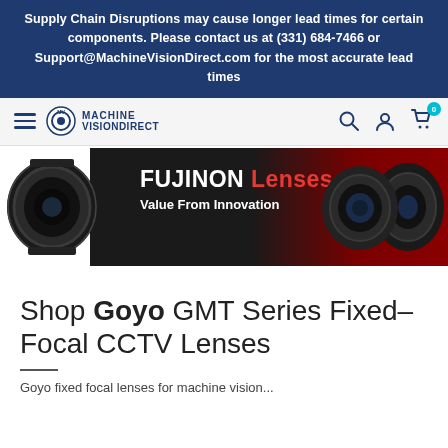Supply Chain Disruptions may cause longer lead times for certain components. Please contact us at (331) 684-7466 or Support@MachineVisionDirect.com for the most accurate lead times
[Figure (logo): Machine Vision Direct navigation bar with hamburger menu, logo, search, account, and cart icons]
[Figure (illustration): Fujinon Lenses - Value From Innovation promotional banner with lens images on dark background]
Shop Goyo GMT Series Fixed-Focal CCTV Lenses
Goyo fixed focal lenses for machine vision...